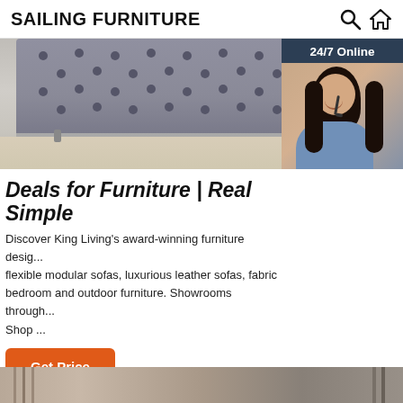SAILING FURNITURE
[Figure (photo): Photo of a tufted upholstered bed/headboard in grey with wooden floor background; overlaid with a 24/7 Online chat widget showing a woman with headset, 'Click here for free chat!' text, and an orange QUOTATION button]
Deals for Furniture | Real Simple
Discover King Living's award-winning furniture desig... flexible modular sofas, luxurious leather sofas, fabric bedroom and outdoor furniture. Showrooms through... Shop ...
[Figure (other): Orange 'Get Price' button]
[Figure (photo): Bottom strip showing partial furniture image]